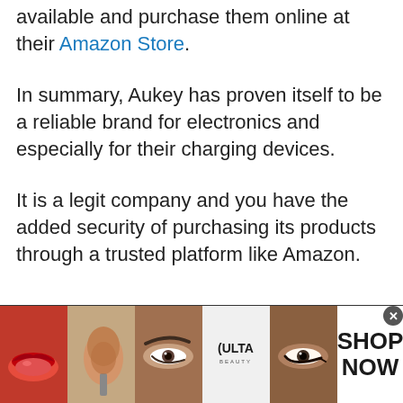available and purchase them online at their Amazon Store.
In summary, Aukey has proven itself to be a reliable brand for electronics and especially for their charging devices.
It is a legit company and you have the added security of purchasing its products through a trusted platform like Amazon.
[Figure (other): Ulta Beauty advertisement banner showing makeup/beauty images including lips with lipstick, makeup brush, eye with eyebrow, Ulta Beauty logo, and eye with eyeliner, with a 'SHOP NOW' call-to-action button on the right.]